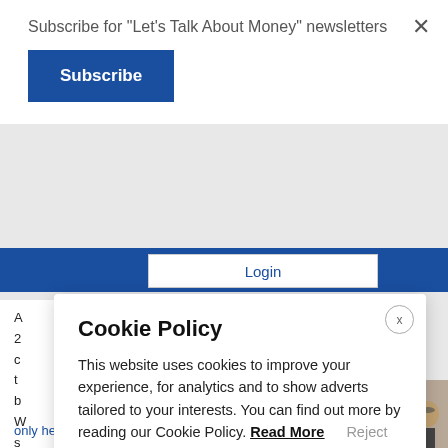Subscribe for "Let's Talk About Money" newsletters
Subscribe
Login
A 2 c t b W s o s c only help them financially later on,
Cookie Policy
This website uses cookies to improve your experience, for analytics and to show adverts tailored to your interests. You can find out more by reading our Cookie Policy.
Read More
Reject
Accept and close